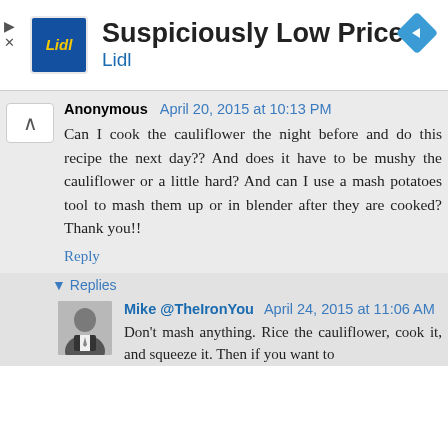[Figure (other): Lidl advertisement banner: Lidl logo (blue square with yellow Lidl text), heading 'Suspiciously Low Prices', subheading 'Lidl', blue diamond navigation icon on the right, play/close controls on the left]
Anonymous April 20, 2015 at 10:13 PM
Can I cook the cauliflower the night before and do this recipe the next day?? And does it have to be mushy the cauliflower or a little hard? And can I use a mash potatoes tool to mash them up or in blender after they are cooked? Thank you!!
Reply
▾ Replies
Mike @TheIronYou April 24, 2015 at 11:06 AM
Don't mash anything. Rice the cauliflower, cook it, and squeeze it. Then if you want to